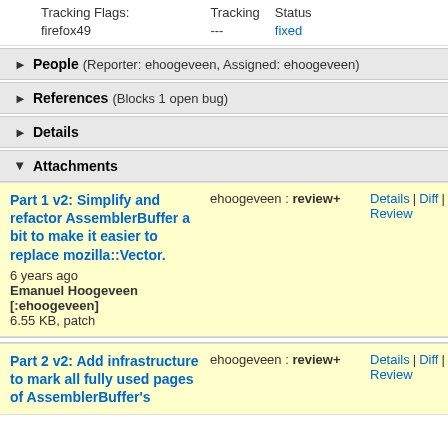| Tracking Flags: | Tracking | Status |
| --- | --- | --- |
| firefox49 | --- | fixed |
People (Reporter: ehoogeveen, Assigned: ehoogeveen)
References (Blocks 1 open bug)
Details
Attachments
Part 1 v2: Simplify and refactor AssemblerBuffer a bit to make it easier to replace mozilla::Vector. 6 years ago Emanuel Hoogeveen [:ehoogeveen] 6.55 KB, patch
ehoogeveen : review+
Details | Diff | Splinter Review
Part 2 v2: Add infrastructure to mark all fully used pages of AssemblerBuffer's
ehoogeveen : review+
Details | Diff | Splinter Review